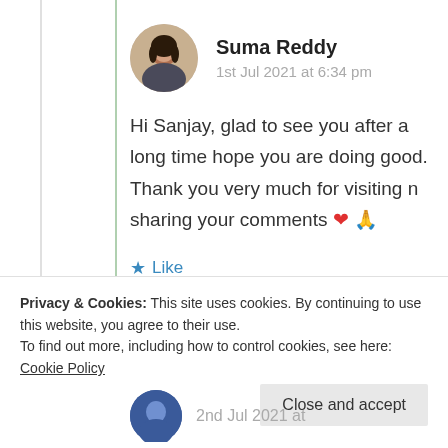[Figure (photo): Circular avatar photo of Suma Reddy]
Suma Reddy
1st Jul 2021 at 6:34 pm
Hi Sanjay, glad to see you after a long time hope you are doing good. Thank you very much for visiting n sharing your comments ❤️ 🙏
★ Like
Log in to Reply
Privacy & Cookies: This site uses cookies. By continuing to use this website, you agree to their use.
To find out more, including how to control cookies, see here: Cookie Policy
Close and accept
2nd Jul 2021 at